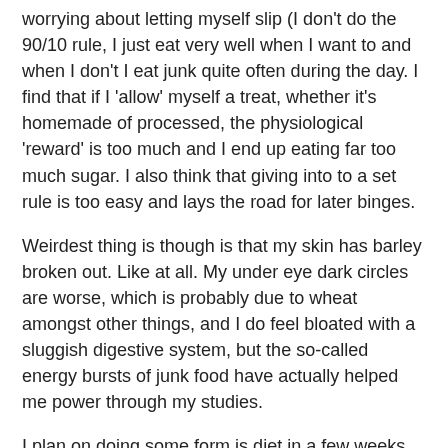worrying about letting myself slip (I don't do the 90/10 rule, I just eat very well when I want to and when I don't I eat junk quite often during the day. I find that if I 'allow' myself a treat, whether it's homemade of processed, the physiological 'reward' is too much and I end up eating far too much sugar. I also think that giving into to a set rule is too easy and lays the road for later binges.
Weirdest thing is though is that my skin has barley broken out. Like at all. My under eye dark circles are worse, which is probably due to wheat amongst other things, and I do feel bloated with a sluggish digestive system, but the so-called energy bursts of junk food have actually helped me power through my studies.
I plan on doing some form is diet in a few weeks, be it candida or something more extreme to reduce the persistent eye issues, but I would never continue to eat like I have.
I totally understand where you are coming from in terms of